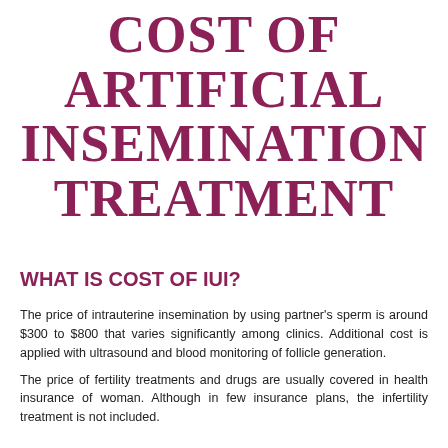COST OF ARTIFICIAL INSEMINATION TREATMENT
WHAT IS COST OF IUI?
The price of intrauterine insemination by using partner's sperm is around $300 to $800 that varies significantly among clinics. Additional cost is applied with ultrasound and blood monitoring of follicle generation.
The price of fertility treatments and drugs are usually covered in health insurance of woman. Although in few insurance plans, the infertility treatment is not included.